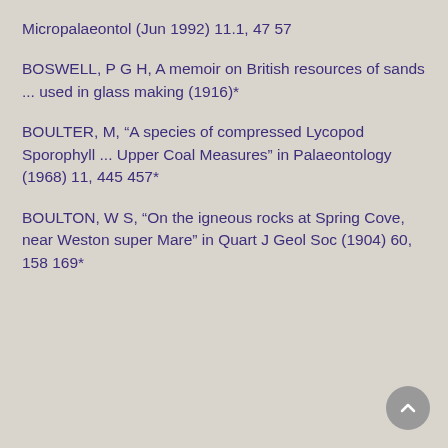Micropalaeontol (Jun 1992) 11.1, 47 57
BOSWELL, P G H, A memoir on British resources of sands ... used in glass making (1916)*
BOULTER, M, “A species of compressed Lycopod Sporophyll ... Upper Coal Measures” in Palaeontology (1968) 11, 445 457*
BOULTON, W S, “On the igneous rocks at Spring Cove, near Weston super Mare” in Quart J Geol Soc (1904) 60, 158 169*